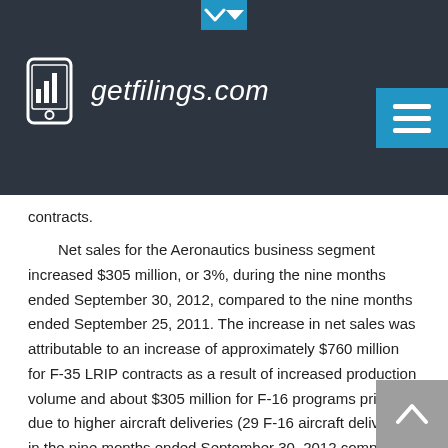getfilings.com
contracts.
Net sales for the Aeronautics business segment increased $305 million, or 3%, during the nine months ended September 30, 2012, compared to the nine months ended September 25, 2011. The increase in net sales was attributable to an increase of approximately $760 million for F-35 LRIP contracts as a result of increased production volume and about $305 million for F-16 programs primarily due to higher aircraft deliveries (29 F-16 aircraft delivered in the nine months ended September 30, 2012 compared to 17 in the nine months ended September 25, 2011). Partially offsetting the increases were lower net sales of about $350 million for the F-22 programs due to decreased production and lower risk retirements; a decline of about $145 million for the F-35 development contract due to the inception-to-date effect of